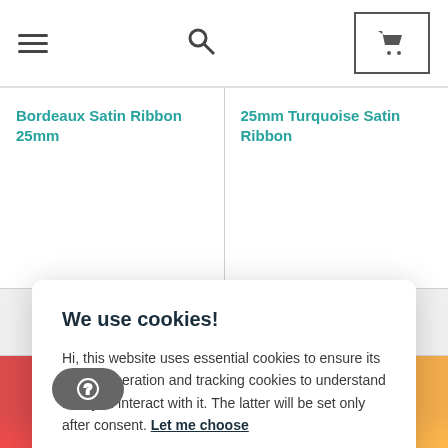Navigation header with hamburger menu, search icon, and cart icon
Bordeaux Satin Ribbon 25mm
25mm Turquoise Satin Ribbon
We use cookies!
Hi, this website uses essential cookies to ensure its proper operation and tracking cookies to understand how you interact with it. The latter will be set only after consent. Let me choose
Accept all
Reject all